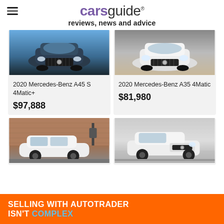carsguide reviews, news and advice
[Figure (photo): 2020 Mercedes-Benz A45 S 4Matic+ front view, dark blue/grey, in showroom with blue background]
2020 Mercedes-Benz A45 S 4Matic+
$97,888
[Figure (photo): 2020 Mercedes-Benz A35 4Matic front view, white, in showroom]
2020 Mercedes-Benz A35 4Matic
$81,980
[Figure (photo): Mercedes-Benz A-class hatchback, white, side view, parked in front of brick building with EV charger]
[Figure (photo): Mercedes-Benz A-class sedan, white, front 3/4 view, in bright showroom]
[Figure (infographic): Orange advertisement banner: SELLING WITH AUTOTRADER ISN'T COMPLEX]